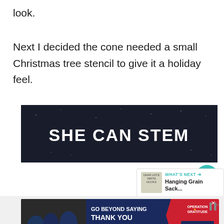look.
Next I decided the cone needed a small Christmas tree stencil to give it a holiday feel.
[Figure (screenshot): Dark banner advertisement with white bold text reading 'SHE CAN STEM' on a dark navy/black starry background]
[Figure (screenshot): UI button - teal circular heart/favorite button]
[Figure (screenshot): UI button - light gray circular share button with share icon]
[Figure (screenshot): WHAT'S NEXT panel with thumbnail image and text 'Hanging Grain Sack...']
[Figure (screenshot): Bottom advertisement: 'GO BEYOND SAYING THANK YOU' with Operation Gratitude logo and JOIN US button]